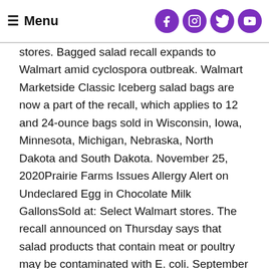≡ Menu
stores. Bagged salad recall expands to Walmart amid cyclospora outbreak. Walmart Marketside Classic Iceberg salad bags are now a part of the recall, which applies to 12 and 24-ounce bags sold in Wisconsin, Iowa, Minnesota, Michigan, Nebraska, North Dakota and South Dakota. November 25, 2020Prairie Farms Issues Allergy Alert on Undeclared Egg in Chocolate Milk GallonsSold at: Select Walmart stores. The recall announced on Thursday says that salad products that contain meat or poultry may be contaminated with E. coli. September 16, 2020Willow Tree Poultry Farm, Inc. This includes headache medicine, pain relievers, antacids, heartburn meds, and anything else your heart (or other parts of your body) desires. Prairie Farms Issues Allergy Alert on Undeclared Egg in Chocolate Milk Gallons, Tanimura & Antle Voluntary Recalls Packaged Single Head Romaine Lettuce Due to Potential E. Coli O157:H7 Contamination